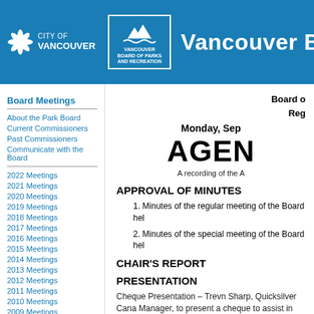[Figure (logo): City of Vancouver and Vancouver Board of Parks and Recreation logos on blue header bar with text 'Vancouver B']
Board Meetings
About the Park Board
Current Commissioners
Past Commissioners
Communicate with the Board
2022 Meetings
2021 Meetings
2020 Meetings
2019 Meetings
2018 Meetings
2017 Meetings
2016 Meetings
2015 Meetings
2014 Meetings
2013 Meetings
2012 Meetings
2011 Meetings
2010 Meetings
2009 Meetings
Board of
Reg
Monday, Sep
AGEN
A recording of the A
APPROVAL OF MINUTES
1. Minutes of the regular meeting of the Board hel
2. Minutes of the special meeting of the Board hel
CHAIR'S REPORT
PRESENTATION
Cheque Presentation – Trevn Sharp, Quicksilver Cana Manager, to present a cheque to assist in the improvem